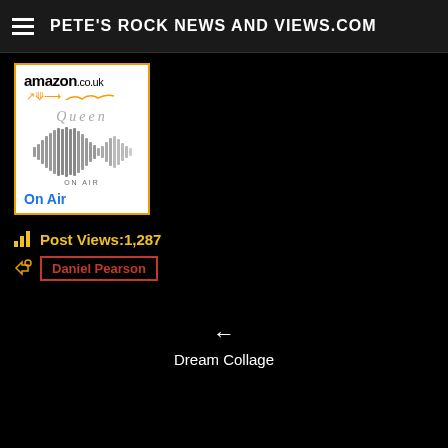PETE'S ROCK NEWS AND VIEWS.COM
[Figure (screenshot): Amazon.co.uk product card for Queen 'On Air' album showing Amazon logo, Queen script logo, audio waveform graphic, ON AIR text label, and 'On Air' link in blue]
Post Views: 1,287
Daniel Pearson
← Dream Collage